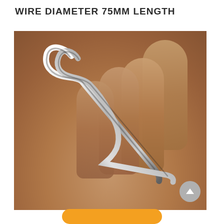WIRE DIAMETER 75MM LENGTH
[Figure (photo): A hand holding a shiny silver metal R-clip (beta pin / hairpin cotter pin). The clip has a looped top and two parallel wire legs that cross, one bent outward. The background shows a person's palm and fingers. A grey scroll-to-top button is visible in the lower right corner. An orange button is partially visible at the bottom.]